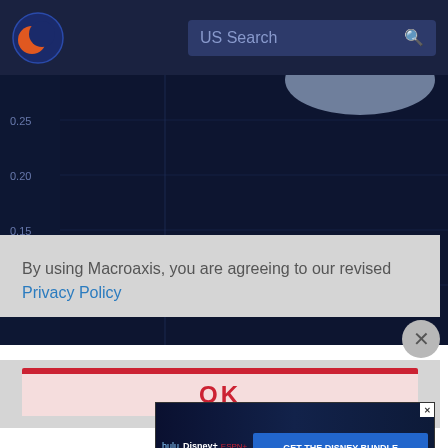[Figure (screenshot): Macroaxis website navigation bar with logo and US Search bar]
[Figure (continuous-plot): Financial chart with dark background showing y-axis values 0.10, 0.15, 0.20, 0.25 and a rounded shape at top right (partial view)]
By using Macroaxis, you are agreeing to our revised Privacy Policy
[Figure (screenshot): Disney Bundle advertisement banner with Hulu, Disney+, ESPN+ logos and GET THE DISNEY BUNDLE button]